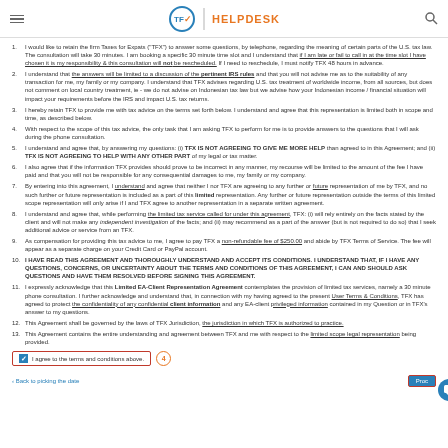TFX HELPDESK
1. I would like to retain the firm Taxes for Expats ("TFX") to answer some questions, by telephone, regarding the meaning of certain parts of the U.S. tax law. The consultation will take 30 minutes. I am booking a specific 30 minute time slot and I understand that if I am late or fail to call in at the time slot I have chosen it is my responsibility & this consultation will not be rescheduled. If I need to reschedule, I must notify TFX 48 hours in advance.
2. I understand that the answers will be limited to a discussion of the pertinent IRS rules and that you will not advise me as to the suitability of any transaction for me, my family or my company. I understand that TFX advises regarding U.S. tax treatment of worldwide income, from all sources, but does not comment on local country treatment, ie - we do not advise on Indonesian tax law but we advise how your Indonesian income / financial situation will impact your requirements before the IRS and impact U.S. tax returns.
3. I hereby retain TFX to provide me with tax advice on the terms set forth below. I understand and agree that this representation is limited both in scope and time, as described below.
4. With respect to the scope of this tax advice, the only task that I am asking TFX to perform for me is to provide answers to the questions that I will ask during the phone consultation.
5. I understand and agree that, by answering my questions: (i) TFX IS NOT AGREEING TO GIVE ME MORE HELP than agreed to in this Agreement; and (ii) TFX IS NOT AGREEING TO HELP WITH ANY OTHER PART of my legal or tax matter.
6. I also agree that if the information TFX provides should prove to be incorrect in any manner, my recourse will be limited to the amount of the fee I have paid and that you will not be responsible for any consequential damages to me, my family or my company.
7. By entering into this agreement, I understand and agree that neither I nor TFX are agreeing to any further or future representation of me by TFX, and no such further or future representation is included as a part of this limited representation. Any further or future representation outside the terms of this limited scope representation will only arise if I and TFX agree to another representation in a separate written agreement.
8. I understand and agree that, while performing the limited tax service called for under this agreement, TFX: (i) will rely entirely on the facts stated by the client and will not make any independent investigation of the facts; and (ii) may recommend as a part of the answer (but is not required to do so) that I seek additional advice or service from an TFX.
9. As compensation for providing this tax advice to me, I agree to pay TFX a non-refundable fee of $250.00 and abide by TFX Terms of Service. The fee will appear as a separate charge on your Credit Card or PayPal account.
10. I HAVE READ THIS AGREEMENT AND THOROUGHLY UNDERSTAND AND ACCEPT ITS CONDITIONS. I UNDERSTAND THAT, IF I HAVE ANY QUESTIONS, CONCERNS, OR UNCERTAINTY ABOUT THE TERMS AND CONDITIONS OF THIS AGREEMENT, I CAN AND SHOULD ASK QUESTIONS AND HAVE THEM RESOLVED BEFORE SIGNING THIS AGREEMENT.
11. I expressly acknowledge that this Limited EA-Client Representation Agreement contemplates the provision of limited tax services, namely a 30 minute phone consultation. I further acknowledge and understand that, in connection with my having agreed to the present User Terms & Conditions, TFX has agreed to protect the confidentiality of any confidential client information and any EA-client privileged information contained in my Question or in TFX's answer to my questions.
12. This Agreement shall be governed by the laws of TFX Jurisdiction, the jurisdiction in which TFX is authorized to practice.
13. This Agreement contains the entire understanding and agreement between TFX and me with respect to the limited scope legal representation being provided.
I agree to the terms and conditions above.
< Back to picking the date    Proc